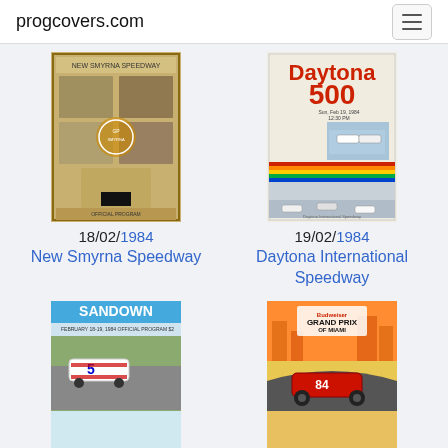progcovers.com
[Figure (photo): New Smyrna Speedway race program cover, vintage collage style with multiple photos]
18/02/1984
New Smyrna Speedway
[Figure (photo): Daytona 500 race program cover showing race cars on track]
19/02/1984
Daytona International Speedway
[Figure (photo): Sandown race program cover showing white race car number 5]
[Figure (photo): Grand Prix of Miami program cover showing red race car]